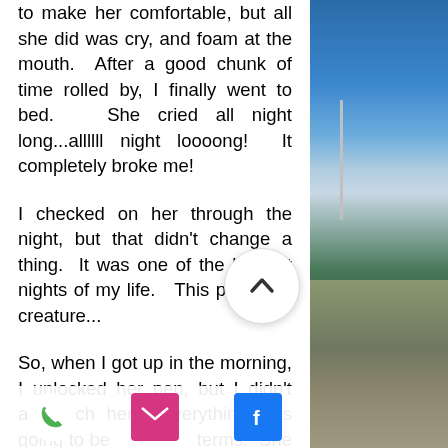to make her comfortable, but all she did was cry, and foam at the mouth.  After a good chunk of time rolled by, I finally went to bed.   She cried all night long...allllll night loooong!  It completely broke me!
I checked on her through the night, but that didn't change a thing.  It was one of the longest nights of my life.   This poor little creature...
So, when I got up in the morning, I unlocked her pen, but I didn't approach her.  Everything was going to be [on her] terms.  She wasn't budging though.  At some point, I decided to get a handful of food, [and walk] h my back to her.  I stretched my hand behind
[Figure (photo): Outdoor landscape photo showing a road with a street lamp, blue sky with clouds, and forested hillside]